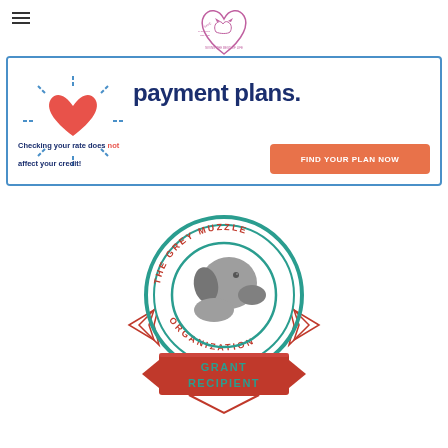[Figure (logo): Save the Best for Last / SNIPSA heart-shaped logo with cat and dog silhouettes in the center, placed at the top center of the page]
[Figure (screenshot): Advertisement banner with blue border showing 'payment plans.' in bold dark blue text, with a red/orange heart with sun rays on left, 'Checking your rate does not affect your credit!' text in dark blue with 'not' in red/orange, and an orange 'FIND YOUR PLAN NOW' button]
[Figure (logo): The Grey Muzzle Organization Grant Recipient badge/seal — circular emblem with teal border, red shield-shaped frame with text 'THE GREY MUZZLE ORGANIZATION' around the circle, grey Labrador dog head silhouette in center circle with teal outline, and red banner at bottom with teal text 'GRANT RECIPIENT', star/chevron decorative elements on sides]